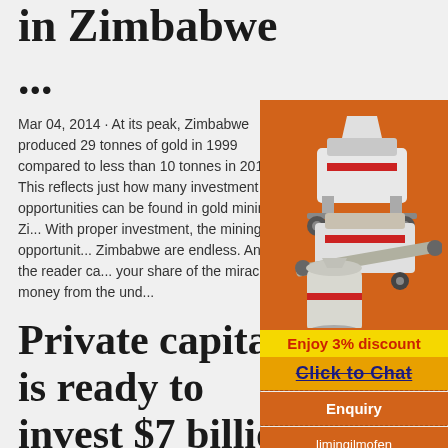in Zimbabwe ...
Mar 04, 2014 · At its peak, Zimbabwe produced 29 tonnes of gold in 1999 compared to less than 10 tonnes in 2010. This reflects just how many investment opportunities can be found in gold mining in Zim... With proper investment, the mining opportuniti... Zimbabwe are endless. And you the reader ca... your share of the miracle money from the und...
[Figure (infographic): Orange advertisement sidebar for mining machinery with images of crushers and mills, discount offer, Click to Chat button, Enquiry section, and email limingjlmofen@sina.com]
Private capital is ready to invest $7 billion in mining
Mar 20, 2016 · Looking for investors to fu... mining projects in Zimbabwe. We can even st... small scale operations with minimum capital in... ... Interested investors can kindly e